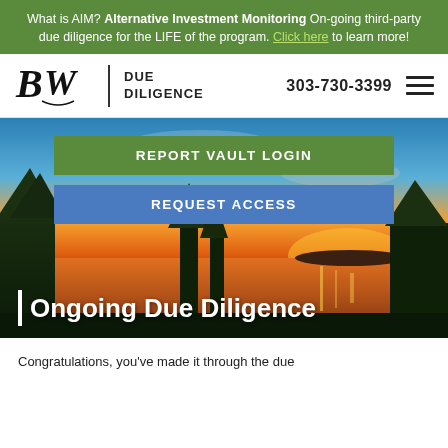What is AIM? **Alternative Investment Monitoring** On-going third-party due diligence for the LIFE of the program. Click here to learn more!
[Figure (logo): BW Due Diligence logo with stylized B and W letters and vertical divider]
303-730-3399
[Figure (photo): Scenic sunset photo over a lake with trees and orange sky used as hero background]
REPORT VAULT LOGIN
REQUEST ACCESS
Ongoing Due Diligence
Congratulations, you've made it through the due